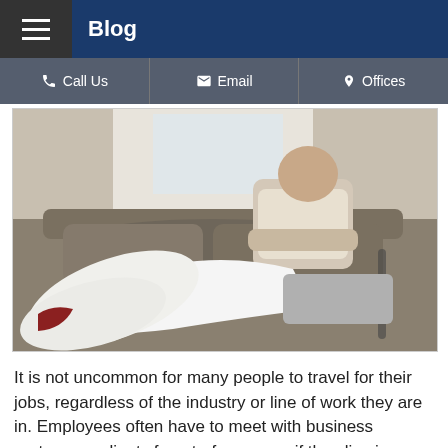Blog
Call Us | Email | Offices
[Figure (photo): Man sitting on a couch with his leg in a white cast, arms crossed, wearing a white polo shirt and grey shorts]
It is not uncommon for many people to travel for their jobs, regardless of the industry or line of work they are in. Employees often have to meet with business partners or clients face-to-face, even if they live in different states or countries. Depending on the work needs to be done, a business trip can last a day, weeks, or even months. The potential for a workplace